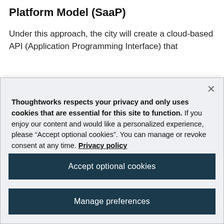Platform Model (SaaP)
Under this approach, the city will create a cloud-based API (Application Programming Interface) that
Thoughtworks respects your privacy and only uses cookies that are essential for this site to function. If you enjoy our content and would like a personalized experience, please “Accept optional cookies”. You can manage or revoke consent at any time. Privacy policy
Accept optional cookies
Manage preferences